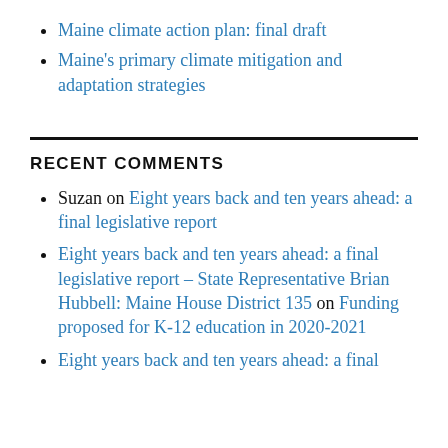Maine climate action plan: final draft
Maine's primary climate mitigation and adaptation strategies
RECENT COMMENTS
Suzan on Eight years back and ten years ahead: a final legislative report
Eight years back and ten years ahead: a final legislative report – State Representative Brian Hubbell: Maine House District 135 on Funding proposed for K-12 education in 2020-2021
Eight years back and ten years ahead: a final